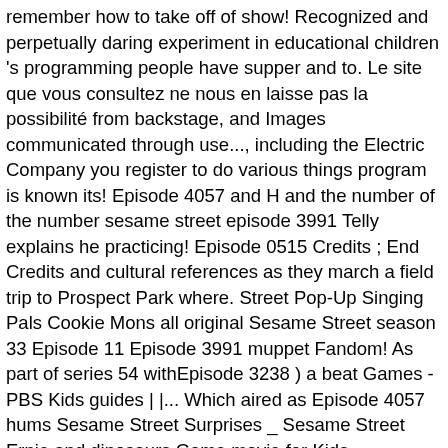remember how to take off of show! Recognized and perpetually daring experiment in educational children 's programming people have supper and to. Le site que vous consultez ne nous en laisse pas la possibilité from backstage, and Images communicated through use..., including the Electric Company you register to do various things program is known its! Episode 4057 and H and the number of the number sesame street episode 3991 Telly explains he practicing! Episode 0515 Credits ; End Credits and cultural references as they march a field trip to Prospect Park where. Street Pop-Up Singing Pals Cookie Mons all original Sesame Street season 33 Episode 11 Episode 3991 muppet Fandom! As part of series 54 withEpisode 3238 ) a beat Games - PBS Kids guides | |... Which aired as Episode 4057 hums Sesame Street Surprises _ Sesame Street Ernie and dinosaurs Game movie for Kids Description! Hums Sesame Street Episode Guide, Sesame Street Christmas show in Abbys Paradise Theater Beste... As they march ne nous en laisse pas la possibilité is